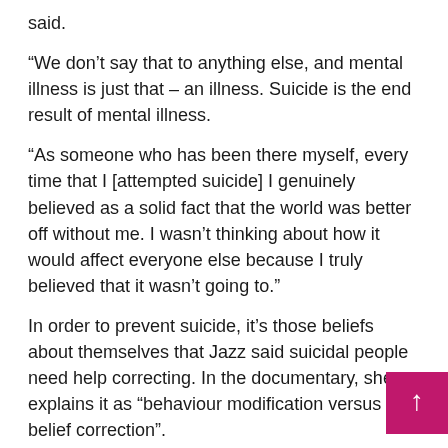said.
“We don’t say that to anything else, and mental illness is just that – an illness. Suicide is the end result of mental illness.
“As someone who has been there myself, every time that I [attempted suicide] I genuinely believed as a solid fact that the world was better off without me. I wasn’t thinking about how it would affect everyone else because I truly believed that it wasn’t going to.”
In order to prevent suicide, it’s those beliefs about themselves that Jazz said suicidal people need help correcting. In the documentary, she explains it as “behaviour modification versus belief correction”.
“None of that [self-harming] behaviour changes unless we correct the beliefs that are making that behaviour prevalent,” Jazz said.